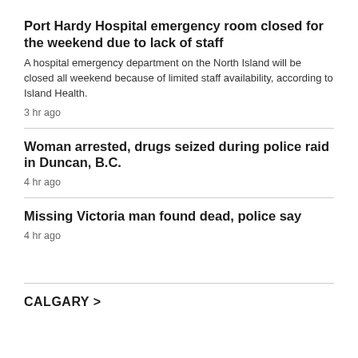Port Hardy Hospital emergency room closed for the weekend due to lack of staff
A hospital emergency department on the North Island will be closed all weekend because of limited staff availability, according to Island Health.
3 hr ago
Woman arrested, drugs seized during police raid in Duncan, B.C.
4 hr ago
Missing Victoria man found dead, police say
4 hr ago
CALGARY >